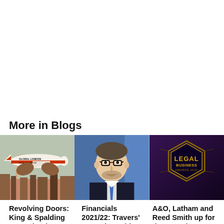More in Blogs
[Figure (illustration): Illustration of a plane labeled 'GLOBAL LONDON' flying over a city skyline including The Shard, with a reddish-brown background]
[Figure (photo): Headshot of a smiling man wearing glasses and a suit with a blue tie, on a blue background]
[Figure (photo): Dark background with a hexagonal Legal Business Awards logo in gold]
Revolving Doors: King & Spalding expands City
Financials 2021/22: Travers' PEP takes a hit as
A&O, Latham and Reed Smith up for the top prize as